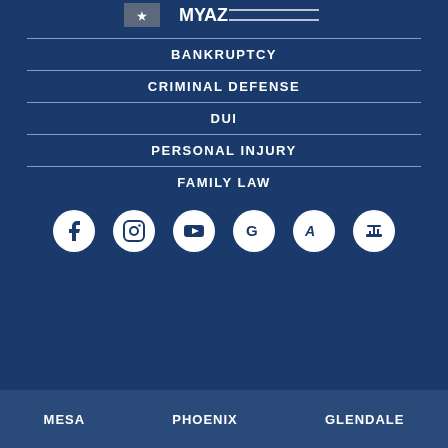[Figure (logo): My AZ Lawyers logo at top]
BANKRUPTCY
CRIMINAL DEFENSE
DUI
PERSONAL INJURY
FAMILY LAW
[Figure (infographic): Social media icons: Facebook, Instagram, YouTube, Google, Avvo, Justia]
MESA   PHOENIX   GLENDALE